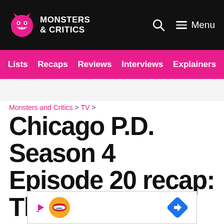Monsters & Critics — Menu
Lists
Recaps
Reviews
Interviews
Explainers
Monsters and Critics > TV >
Chicago P.D. Season 4 Episode 20 recap: The truth is always out there
[Figure (logo): Burger King advertisement banner at the bottom of the page]